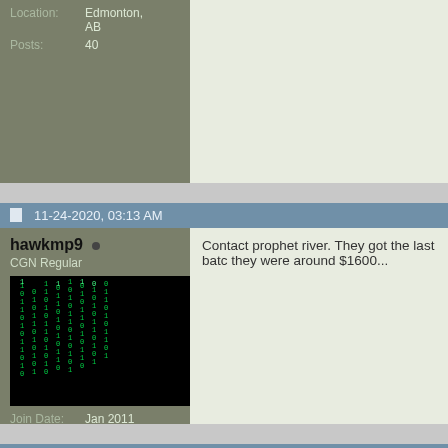Location: Edmonton, AB
Posts: 40
11-24-2020, 03:13 AM
hawkmp9 •
CGN Regular
Join Date: Jan 2011
Posts: 791
Contact prophet river. They got the last batch they were around $1600...
11-24-2020, 03:26 AM
UR2X3M4ME •
Super GunNutz
Arrrgh!! Damn you KaneZoR, why did you s